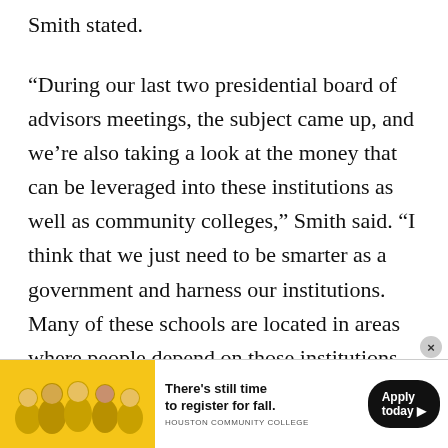Smith stated.
“During our last two presidential board of advisors meetings, the subject came up, and we’re also taking a look at the money that can be leveraged into these institutions as well as community colleges,” Smith said. “I think that we just need to be smarter as a government and harness our institutions. Many of these schools are located in areas where people depend on those institutions to get access to opportunity. Our commitment has always been to figure out a strategy to help these institutions throughout the
[Figure (other): Houston Community College advertisement banner showing group of students with text 'There’s still time to register for fall. Apply today. Houston Community College']